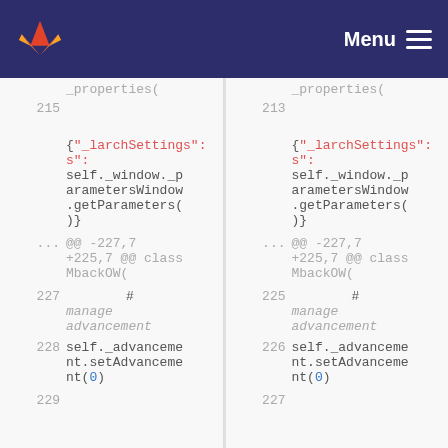GitLab — Menu
Diff view showing code changes. Left panel: line 215, _properties(, line 215 blank, {"_larchSettings": self._window._parametersWindow.getParameters()}, ... @@ -227,7 +225,7 @@ class MbackOW(, line 227 # manage advancement, line 228 self._advancement.setAdvancement(0), line 229. Right panel: same structure with line numbers 213, 225, 226, 227.